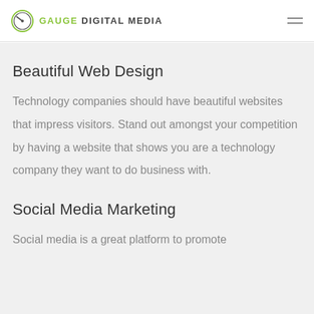GAUGE DIGITAL MEDIA
Beautiful Web Design
Technology companies should have beautiful websites that impress visitors. Stand out amongst your competition by having a website that shows you are a technology company they want to do business with.
Social Media Marketing
Social media is a great platform to promote